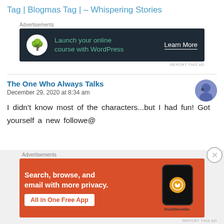Tag | Blogmas Tag | – Whispering Stories
[Figure (infographic): Advertisement banner for launching online course with WordPress. Dark background with tree/bonsai icon, green text 'Launch your online course with WordPress' and 'Learn More' button.]
The One Who Always Talks
December 29, 2020 at 8:34 am
I didn't know most of the characters...but I had fun! Got yourself a new followe@
[Figure (infographic): DuckDuckGo advertisement. Orange background with white bold text 'Search, browse, and email with more privacy.' with 'All in One Free App' button and phone illustration with DuckDuckGo logo.]